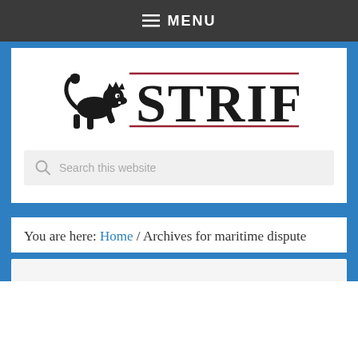≡ MENU
[Figure (logo): STRIFE publication logo with a heraldic lion figure to the left and the word STRIFE in large serif letters, with red horizontal lines above and below the text]
Search this website
You are here: Home / Archives for maritime dispute